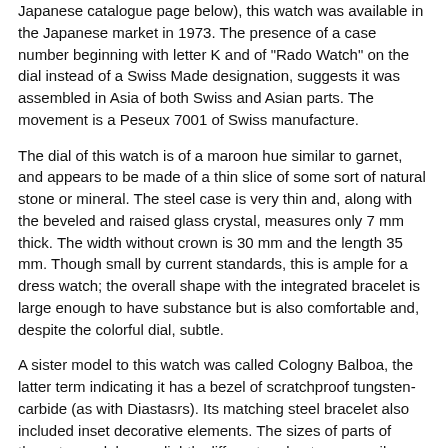Japanese catalogue page below), this watch was available in the Japanese market in 1973. The presence of a case number beginning with letter K and of "Rado Watch" on the dial instead of a Swiss Made designation, suggests it was assembled in Asia of both Swiss and Asian parts. The movement is a Peseux 7001 of Swiss manufacture.
The dial of this watch is of a maroon hue similar to garnet, and appears to be made of a thin slice of some sort of natural stone or mineral. The steel case is very thin and, along with the beveled and raised glass crystal, measures only 7 mm thick. The width without crown is 30 mm and the length 35 mm. Though small by current standards, this is ample for a dress watch; the overall shape with the integrated bracelet is large enough to have substance but is also comfortable and, despite the colorful dial, subtle.
A sister model to this watch was called Cologny Balboa, the latter term indicating it has a bezel of scratchproof tungsten-carbide (as with Diastasrs). Its matching steel bracelet also included inset decorative elements. The sizes of parts of these two mdels are slightly different and not necessarily interchangeable.
Photos: Click for larger images